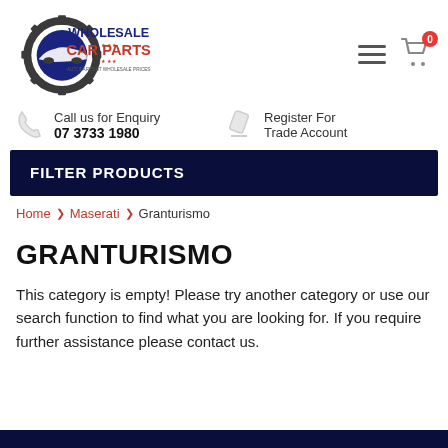[Figure (logo): Wholesale Car Parts logo with gear and car silhouette]
Call us for Enquiry
07 3733 1980
Register For Trade Account
FILTER PRODUCTS
Home › Maserati › Granturismo
GRANTURISMO
This category is empty! Please try another category or use our search function to find what you are looking for. If you require further assistance please contact us.